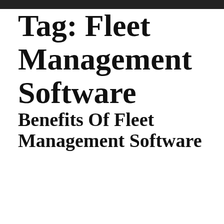Tag: Fleet Management Software
Benefits Of Fleet Management Software